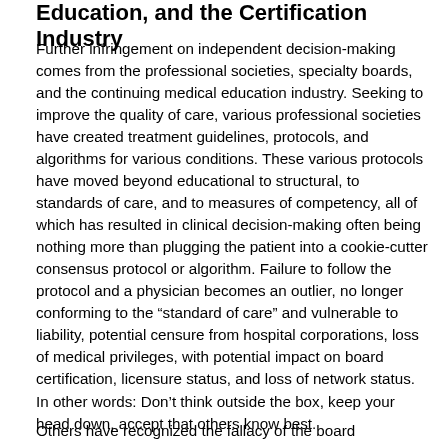Education, and the Certification Industry
Further infringement on independent decision-making comes from the professional societies, specialty boards, and the continuing medical education industry. Seeking to improve the quality of care, various professional societies have created treatment guidelines, protocols, and algorithms for various conditions. These various protocols have moved beyond educational to structural, to standards of care, and to measures of competency, all of which has resulted in clinical decision-making often being nothing more than plugging the patient into a cookie-cutter consensus protocol or algorithm. Failure to follow the protocol and a physician becomes an outlier, no longer conforming to the “standard of care” and vulnerable to liability, potential censure from hospital corporations, loss of medical privileges, with potential impact on board certification, licensure status, and loss of network status. In other words: Don’t think outside the box, keep your head down, accept that others know best.
Others have recognized the fallacy of the board